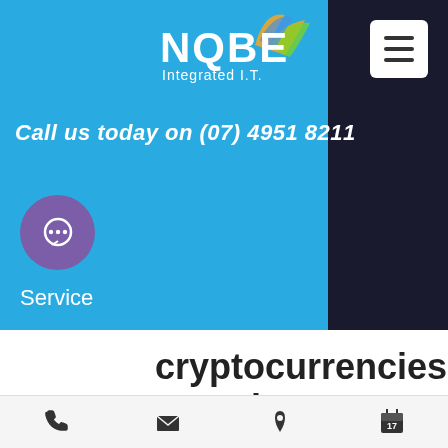[Figure (logo): NQBE Integrated I.T. logo with swoosh graphic on blue background]
Call us today on (07) 4951 8211
[Figure (illustration): Chat bubble icon in purple circle]
Service
cryptocurrencies security problem?
A December 2017 report, completed by Ernst & Young (EY) detail just how big of a security problem cryptocurrency is currently facing. Researchers for EY collected data on 372 different initial coin offerings (ICOs),
[Figure (illustration): Bottom navigation bar with phone, email, location, and calendar icons]